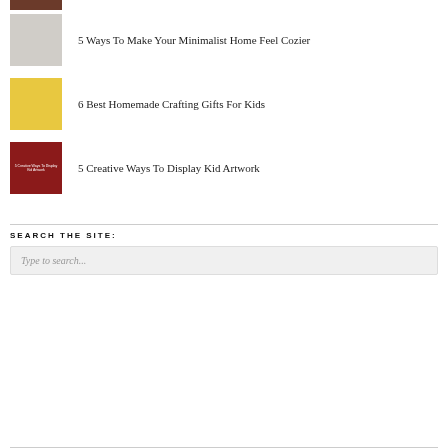[Figure (photo): Partial thumbnail image at top (cropped), dark reddish-brown interior photo]
5 Ways To Make Your Minimalist Home Feel Cozier
6 Best Homemade Crafting Gifts For Kids
5 Creative Ways To Display Kid Artwork
SEARCH THE SITE:
Type to search...